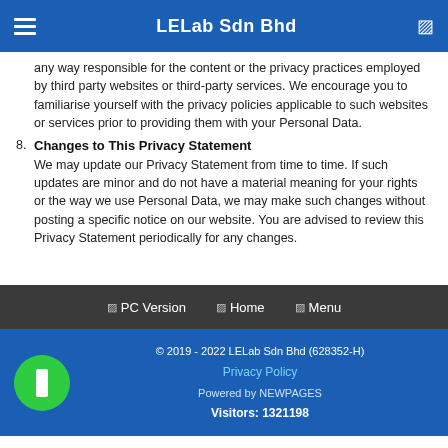LELab Sdn Bhd
any way responsible for the content or the privacy practices employed by third party websites or third-party services. We encourage you to familiarise yourself with the privacy policies applicable to such websites or services prior to providing them with your Personal Data.
8. Changes to This Privacy Statement
We may update our Privacy Statement from time to time. If such updates are minor and do not have a material meaning for your rights or the way we use Personal Data, we may make such changes without posting a specific notice on our website. You are advised to review this Privacy Statement periodically for any changes.
PC Version   Home   Menu
© 2019 - 2022 LELab Sdn Bhd (628352-H)
Privacy Policy
Powered by NEWPAGES
Visitors: 1321198